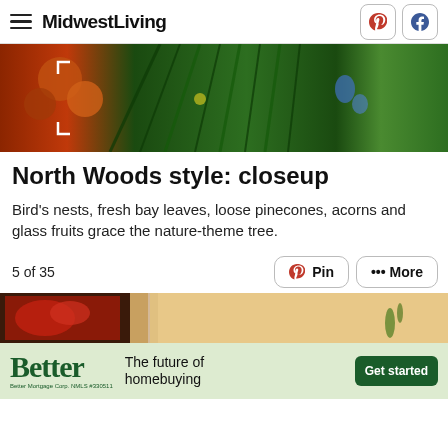MidwestLiving
[Figure (photo): Close-up photo of nature-themed Christmas tree decorations including pine branches, colorful berries and botanical elements]
North Woods style: closeup
Bird's nests, fresh bay leaves, loose pinecones, acorns and glass fruits grace the nature-theme tree.
5 of 35
[Figure (photo): Bottom strip of another nature-themed photo showing wooden frames and botanical decorations]
[Figure (infographic): Advertisement for Better Mortgage: 'Better - The future of homebuying - Get started. Better Mortgage Corp. NMLS #330511']